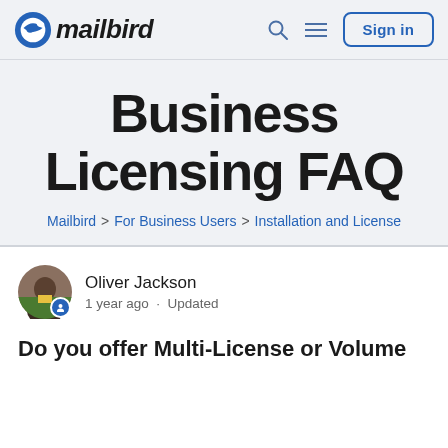mailbird | Sign in
Business Licensing FAQ
Mailbird > For Business Users > Installation and License
Oliver Jackson
1 year ago · Updated
Do you offer Multi-License or Volume